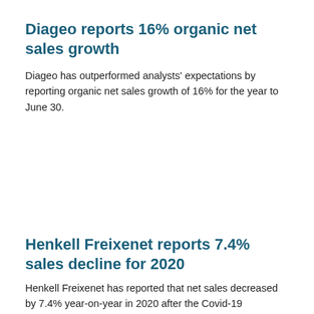Diageo reports 16% organic net sales growth
Diageo has outperformed analysts' expectations by reporting organic net sales growth of 16% for the year to June 30.
Henkell Freixenet reports 7.4% sales decline for 2020
Henkell Freixenet has reported that net sales decreased by 7.4% year-on-year in 2020 after the Covid-19 pandemic